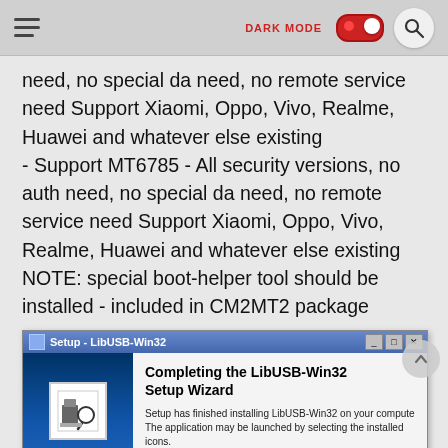DARK MODE [toggle]
need, no special da need, no remote service need Support Xiaomi, Oppo, Vivo, Realme, Huawei and whatever else existing
- Support MT6785 - All security versions, no auth need, no special da need, no remote service need Support Xiaomi, Oppo, Vivo, Realme, Huawei and whatever else existing
NOTE: special boot-helper tool should be installed - included in CM2MT2 package
source : gsmforum
[Figure (screenshot): Windows Setup dialog for LibUSB-Win32. Title bar reads 'Setup - LibUSB-Win32'. Body shows 'Completing the LibUSB-Win32 Setup Wizard' with text: 'Setup has finished installing LibUSB-Win32 on your computer. The application may be launched by selecting the installed icons.']